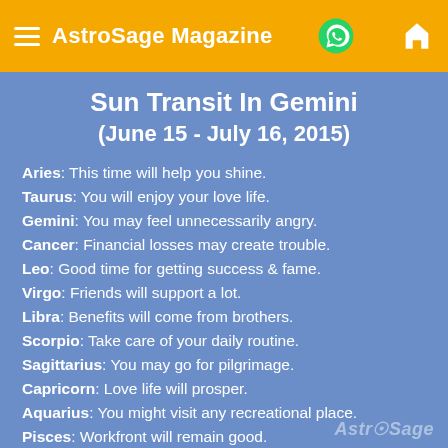AstroSage Magazine
Sun Transit In Gemini
(June 15 - July 16, 2015)
Aries: This time will help you shine.
Taurus: You will enjoy your love life.
Gemini: You may feel unnecessarily angry.
Cancer: Financial losses may create trouble.
Leo: Good time for getting success & fame.
Virgo: Friends will support a lot.
Libra: Benefits will come from brothers.
Scorpio: Take care of your daily routine.
Sagittarius: You may go for pilgrimage.
Capricorn: Love life will prosper.
Aquarius: You might visit any recreational place.
Pisces: Workfront will remain good.